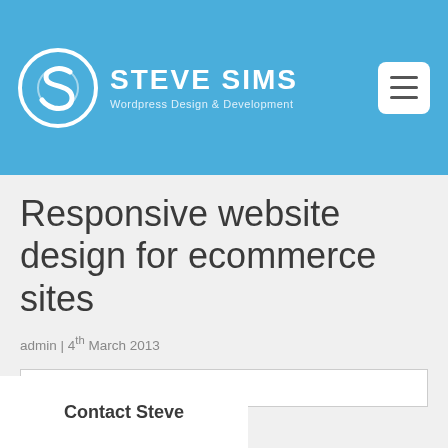[Figure (logo): Steve Sims Wordpress Design & Development logo with circular S icon in white on blue header background, and hamburger menu button on the right]
Responsive website design for ecommerce sites
admin | 4th March 2013
[Figure (photo): Broken image placeholder box]
Contact Steve